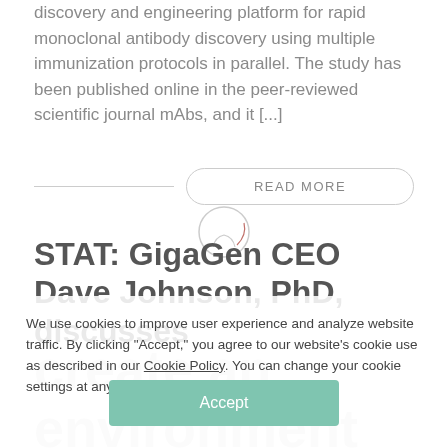discovery and engineering platform for rapid monoclonal antibody discovery using multiple immunization protocols in parallel. The study has been published online in the peer-reviewed scientific journal mAbs, and it [...]
READ MORE
STAT: GigaGen CEO Dave Johnson, PhD, discusses
We use cookies to improve user experience and analyze website traffic. By clicking "Accept," you agree to our website's cookie use as described in our Cookie Policy. You can change your cookie settings at any time by clicking "Preferences."
create an environment that fosters a truly scientific culture
Accept